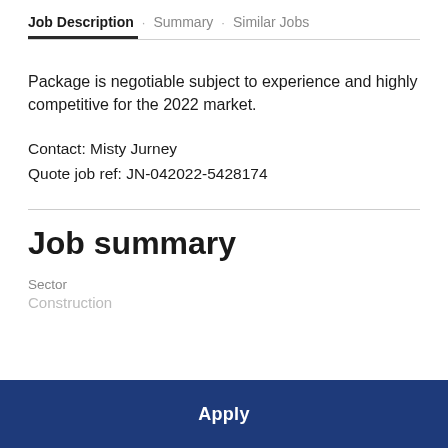Job Description · Summary · Similar Jobs
Package is negotiable subject to experience and highly competitive for the 2022 market.
Contact: Misty Jurney
Quote job ref: JN-042022-5428174
Job summary
Sector
Construction
Apply